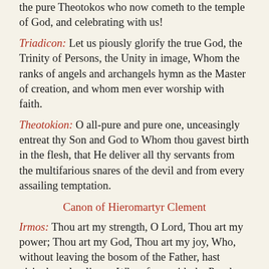the pure Theotokos who now cometh to the temple of God, and celebrating with us!
Triadicon: Let us piously glorify the true God, the Trinity of Persons, the Unity in image, Whom the ranks of angels and archangels hymn as the Master of creation, and whom men ever worship with faith.
Theotokion: O all-pure and pure one, unceasingly entreat thy Son and God to Whom thou gavest birth in the flesh, that He deliver all thy servants from the multifarious snares of the devil and from every assailing temptation.
Canon of Hieromartyr Clement
Irmos: Thou art my strength, O Lord, Thou art my power; Thou art my God, Thou art my joy, Who, without leaving the bosom of the Father, hast visited our lowliness. Wherefore, with the Prophet Habbakuk I cry unto Thee: Glory to Thy power, O Thou Who lovest mankind!